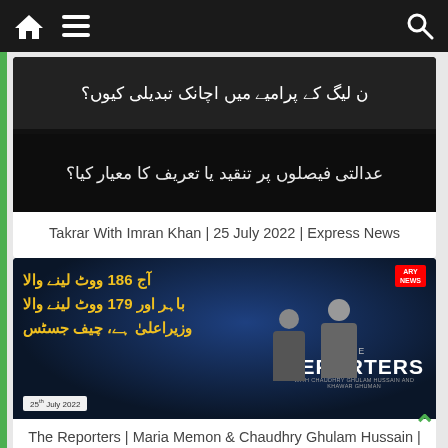Navigation bar with home, menu, and search icons
[Figure (screenshot): Thumbnail for Takrar With Imran Khan show with Urdu text on dark background]
Takrar With Imran Khan | 25 July 2022 | Express News
[Figure (screenshot): Thumbnail for The Reporters show on ARY News dated 25th July 2022, with Urdu text and two news anchors]
The Reporters | Maria Memon & Chaudhry Ghulam Hussain | ARY...